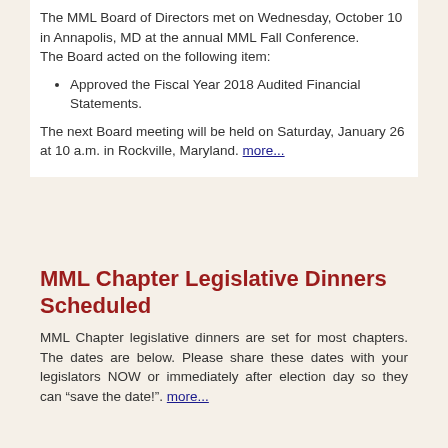The MML Board of Directors met on Wednesday, October 10 in Annapolis, MD at the annual MML Fall Conference. The Board acted on the following item:
Approved the Fiscal Year 2018 Audited Financial Statements.
The next Board meeting will be held on Saturday, January 26 at 10 a.m. in Rockville, Maryland. more...
MML Chapter Legislative Dinners Scheduled
MML Chapter legislative dinners are set for most chapters. The dates are below. Please share these dates with your legislators NOW or immediately after election day so they can “save the date!”. more...